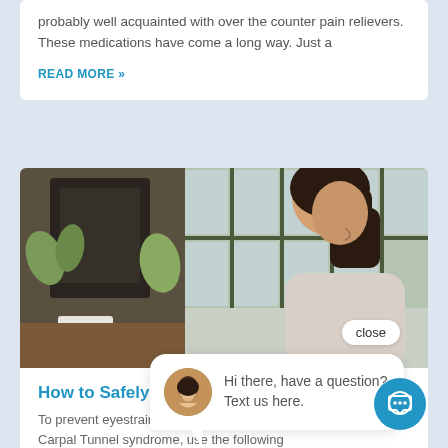probably well acquainted with over the counter pain relievers. These medications have come a long way. Just a
READ MORE »
[Figure (photo): Woman sitting at a desk looking at a computer screen, with plants and windows in the background]
close
Hi there, have a question? Text us here.
How to Safely Use a Computer
To prevent eyestrain, neck fatigue, back pain, Carpal Tunnel syndrome, use the following